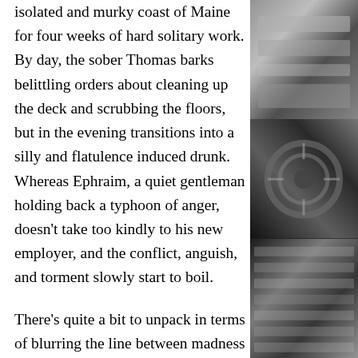isolated and murky coast of Maine for four weeks of hard solitary work. By day, the sober Thomas barks belittling orders about cleaning up the deck and scrubbing the floors, but in the evening transitions into a silly and flatulence induced drunk. Whereas Ephraim, a quiet gentleman holding back a typhoon of anger, doesn’t take too kindly to his new employer, and the conflict, anguish, and torment slowly start to boil.
There’s quite a bit to unpack in terms of blurring the line between madness and danger, and part of that is aided by a smaller aspect ratio to help amplify the isolation, and the black and white
[Figure (photo): Black and white photograph of film/reel equipment, top section]
[Figure (photo): Black and white photograph of film/reel equipment, middle section]
[Figure (photo): Black and white photograph of film/reel equipment, bottom section]